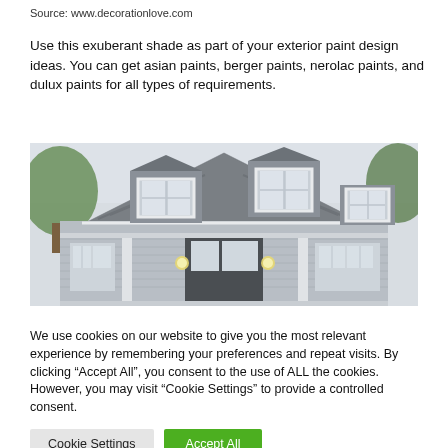Source: www.decorationlove.com
Use this exuberant shade as part of your exterior paint design ideas. You can get asian paints, berger paints, nerolac paints, and dulux paints for all types of requirements.
[Figure (photo): Exterior of a house with gray siding, white trim, dormers with white-framed windows, and a covered front porch with columns and porch lights.]
We use cookies on our website to give you the most relevant experience by remembering your preferences and repeat visits. By clicking “Accept All”, you consent to the use of ALL the cookies. However, you may visit “Cookie Settings” to provide a controlled consent.